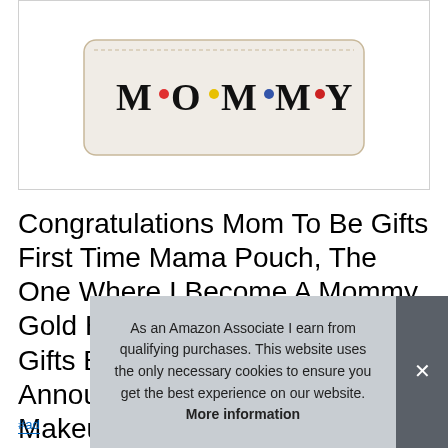[Figure (photo): Product image of a white/cream makeup pouch with 'M·O·M·M·Y' printed in a Friends TV show style font with colored dots between letters]
Congratulations Mom To Be Gifts First Time Mama Pouch, The One Where I Become A Mommy, Gold Heart Zipper Pregnancy Gifts Bag, New Mommy Gift, Announcement Mothers Day Makeup Ba
#ad
As an Amazon Associate I earn from qualifying purchases. This website uses the only necessary cookies to ensure you get the best experience on our website. More information